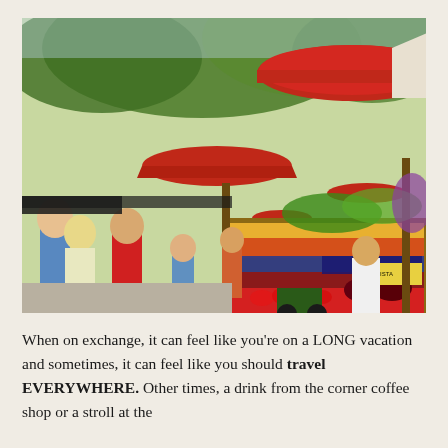[Figure (photo): An outdoor market scene with people browsing stalls covered by red and white umbrellas. The stalls are loaded with fresh fruits and vegetables including strawberries, cherries, blueberries, and other produce. People of various ages walk among the stalls in summer clothing. Green trees are visible in the background.]
When on exchange, it can feel like you're on a LONG vacation and sometimes, it can feel like you should travel EVERYWHERE. Other times, a drink from the corner coffee shop or a stroll at the